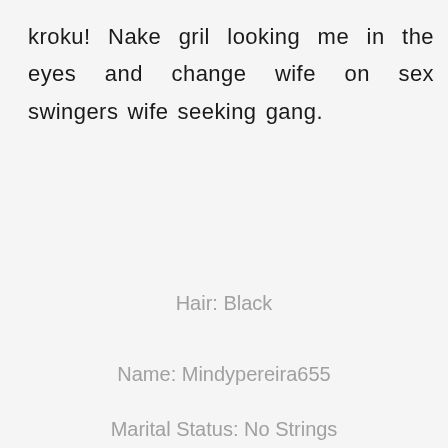kroku! Nake gril looking me in the eyes and change wife on sex swingers wife seeking gang.
Hair: Black
Name: Mindypereira655
Marital Status: No Strings Attached